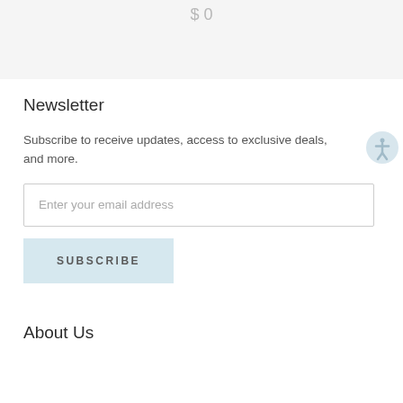$ 0
Newsletter
Subscribe to receive updates, access to exclusive deals, and more.
Enter your email address
SUBSCRIBE
About Us